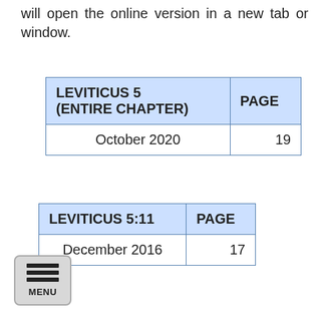will open the online version in a new tab or window.
| LEVITICUS 5 (ENTIRE CHAPTER) | PAGE |
| --- | --- |
| October 2020 | 19 |
| LEVITICUS 5:11 | PAGE |
| --- | --- |
| December 2016 | 17 |